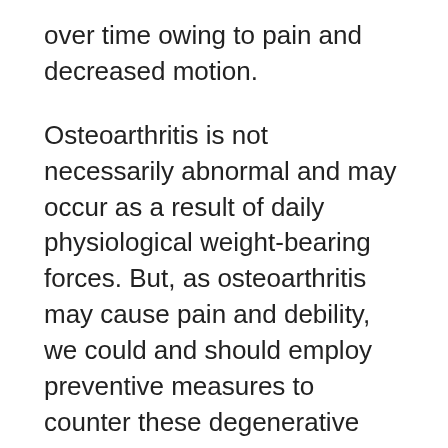over time owing to pain and decreased motion.
Osteoarthritis is not necessarily abnormal and may occur as a result of daily physiological weight-bearing forces. But, as osteoarthritis may cause pain and debility, we could and should employ preventive measures to counter these degenerative processes (processes involving breakdown of tissues). One of the most effective proactive and protective methods to prevent or delay the onset of osteoarthritis is regular vigorous exercise. Physical activities including walking, running, biking, and strength training teach the body how to handle mechanical loads. By training the musculoskeletal system and other